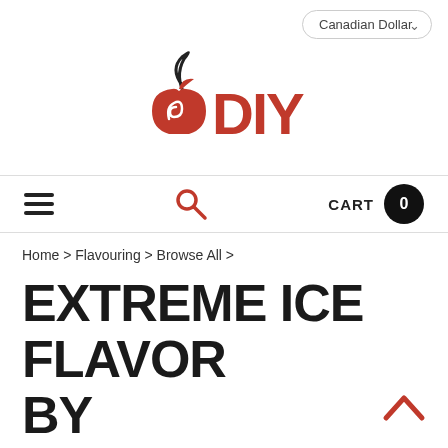Canadian Dollar (dropdown)
[Figure (logo): DIY e-liquid logo: stylized red apple with swirl/smoke and red bold text DIY]
Hamburger menu | Search icon | CART 0
Home > Flavouring > Browse All >
EXTREME ICE FLAVOR BY FLAVORWEST